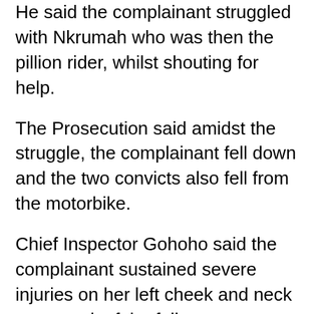He said the complainant struggled with Nkrumah who was then the pillion rider, whilst shouting for help.
The Prosecution said amidst the struggle, the complainant fell down and the two convicts also fell from the motorbike.
Chief Inspector Gohoho said the complainant sustained severe injuries on her left cheek and neck as a result of the fall.
He said one Amaliba, a witness in the case called the Police Patrol Team who moved swiftly to the crime scene and apprehended the convicts and escorted them to the Kaneshie Police station together with the motorbike.